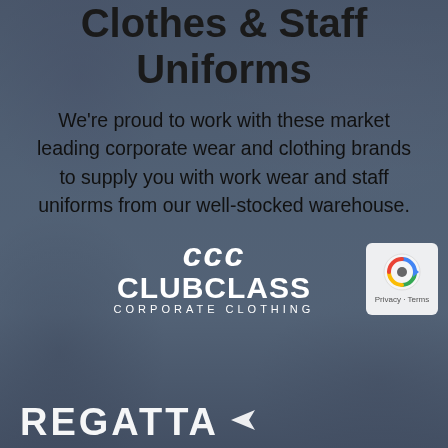Corporate Wear/Work Clothes & Staff Uniforms
We're proud to work with these market leading corporate wear and clothing brands to supply you with work wear and staff uniforms from our well-stocked warehouse.
[Figure (logo): Clubclass Corporate Clothing logo in white with triple-C symbol above the text CLUBCLASS and CORPORATE CLOTHING in smaller letters below]
[Figure (logo): Google reCAPTCHA privacy badge with Privacy - Terms text]
[Figure (logo): Regatta logo in white bold uppercase letters partially visible at bottom]